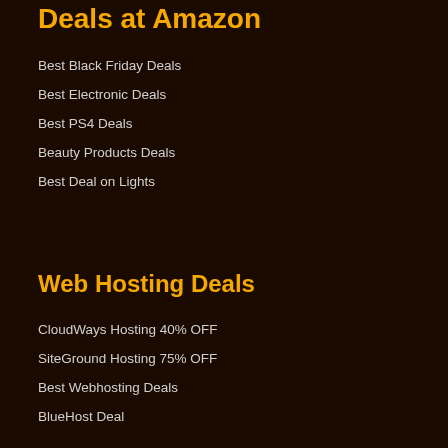Deals at Amazon
Best Black Friday Deals
Best Electronic Deals
Best PS4 Deals
Beauty Products Deals
Best Deal on Lights
Web Hosting Deals
CloudWays Hosting 40% OFF
SiteGround Hosting 75% OFF
Best Webhosting Deals
BlueHost Deal